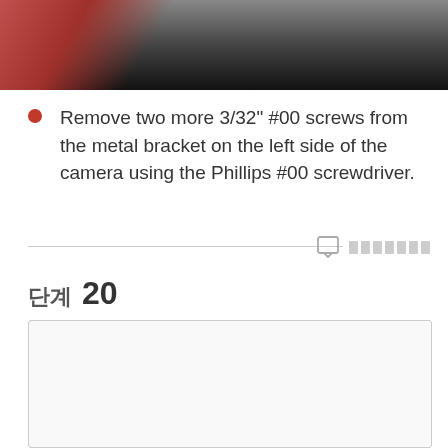[Figure (photo): Top portion of a photo showing a camera with dark metallic parts and a reddish element visible on the left side.]
Remove two more 3/32" #00 screws from the metal bracket on the left side of the camera using the Phillips #00 screwdriver.
단계 20
[Figure (photo): Partially visible photo area below step 20 header, showing a white/light background placeholder.]